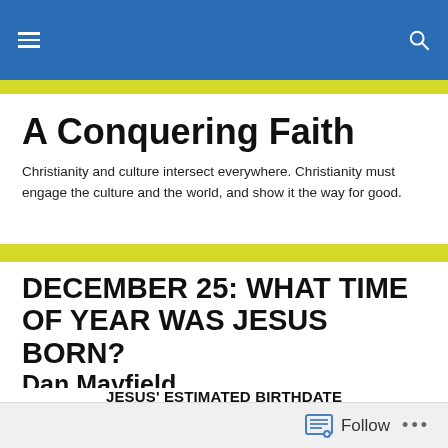A Conquering Faith — site navigation bar
A Conquering Faith
Christianity and culture intersect everywhere. Christianity must engage the culture and the world, and show it the way for good.
DECEMBER 25: WHAT TIME OF YEAR WAS JESUS BORN? Dan Mayfield
[Figure (infographic): Jesus' Estimated Birthdate infographic showing timeline boxes: Jewish New Year New Moon, Pentecost 50 Days, John Conceived the 11th Week, John is Born, Birth of Christ 6 mos. After John's...]
Follow ...